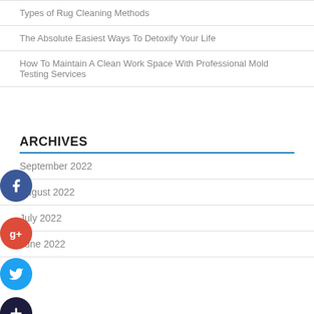Types of Rug Cleaning Methods
The Absolute Easiest Ways To Detoxify Your Life
How To Maintain A Clean Work Space With Professional Mold Testing Services
ARCHIVES
September 2022
August 2022
July 2022
June 2022